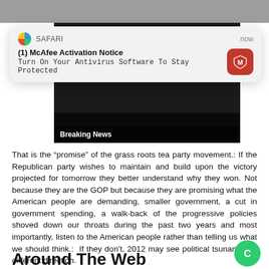[Figure (screenshot): Safari browser notification popup: '(1) McAfee Activation Notice - Turn On Your Antivirus Software To Stay Protected', with McAfee red icon. Time shown: now.]
[Figure (photo): Dark photo with 'Breaking News' banner overlay, partial view of a person's face at top.]
That is the “promise” of the grass roots tea party movement.: If the Republican party wishes to maintain and build upon the victory projected for tomorrow they better understand why they won. Not because they are the GOP but because they are promising what the American people are demanding, smaller government, a cut in government spending, a walk-back of the progressive policies shoved down our throats during the past two years and most importantly, listen to the American people rather than telling us what we should think.:  If they don’t, 2012 may see political tsunami in a different direction.
Jeff Dunetz is editor of the Political Blog The Lid, a contributor to American Thinker, Big Government, Big Hollywood, Big Journalism, and Big Peace.
Around The Web